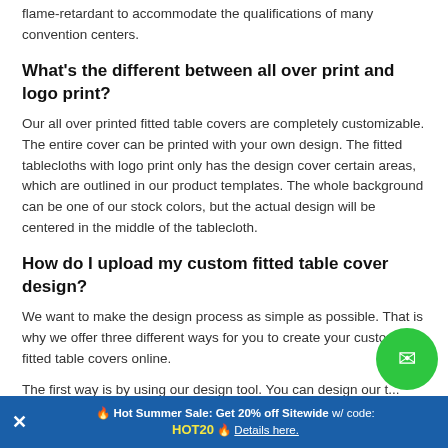flame-retardant to accommodate the qualifications of many convention centers.
What's the different between all over print and logo print?
Our all over printed fitted table covers are completely customizable. The entire cover can be printed with your own design. The fitted tablecloths with logo print only has the design cover certain areas, which are outlined in our product templates. The whole background can be one of our stock colors, but the actual design will be centered in the middle of the tablecloth.
How do I upload my custom fitted table cover design?
We want to make the design process as simple as possible. That is why we offer three different ways for you to create your custom fitted table covers online.
The first way is by using our design tool. You can design our t...
🔥 Hot Summer Sale: Get 20% off Sitewide w/ code: HOT20 🔥 Details here.